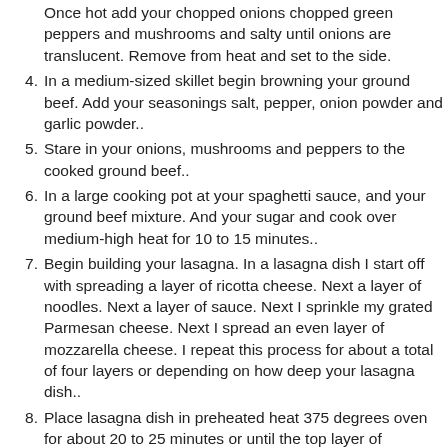Once hot add your chopped onions chopped green peppers and mushrooms and salty until onions are translucent. Remove from heat and set to the side.
4. In a medium-sized skillet begin browning your ground beef. Add your seasonings salt, pepper, onion powder and garlic powder..
5. Stare in your onions, mushrooms and peppers to the cooked ground beef..
6. In a large cooking pot at your spaghetti sauce, and your ground beef mixture. And your sugar and cook over medium-high heat for 10 to 15 minutes..
7. Begin building your lasagna. In a lasagna dish I start off with spreading a layer of ricotta cheese. Next a layer of noodles. Next a layer of sauce. Next I sprinkle my grated Parmesan cheese. Next I spread an even layer of mozzarella cheese. I repeat this process for about a total of four layers or depending on how deep your lasagna dish..
8. Place lasagna dish in preheated heat 375 degrees oven for about 20 to 25 minutes or until the top layer of mozzarella cheese forms a speckled golden brown,